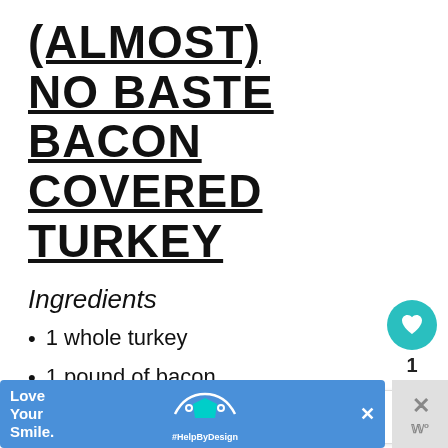(ALMOST) NO BASTE BACON COVERED TURKEY
Ingredients
1 whole turkey
1 pound of bacon
[Figure (infographic): Social interaction sidebar: heart/like button (teal circle with heart icon), count '1', share button (light circle with share icon)]
[Figure (infographic): What's Next panel with avatar photo and text 'WHAT'S NEXT → Happy Birthday Dad']
[Figure (infographic): Advertisement banner: 'Love Your Smile.' dental ad with teal shape graphic and #HelpByDesign hashtag, close X button, and right panel with W logo]